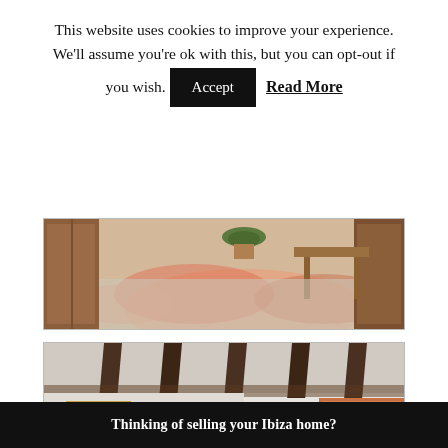This website uses cookies to improve your experience. We'll assume you're ok with this, but you can opt-out if you wish. [Accept] [Read More]
[Figure (photo): Interior photo partially visible: decorated floor with orange swirl patterns, wooden furniture, warm tones — top portion of an Ibiza home room.]
[Figure (photo): Interior photo of a rustic Ibiza living room with white stone walls, exposed dark wooden beam ceiling, ornate gilt-framed painting, grey sofas with colorful cushions, a dark coffee table, and a patterned rug in orange and gold tones.]
[Figure (photo): Partial view of another interior room, dark tones visible at top, partially cropped.]
Thinking of selling your Ibiza home?